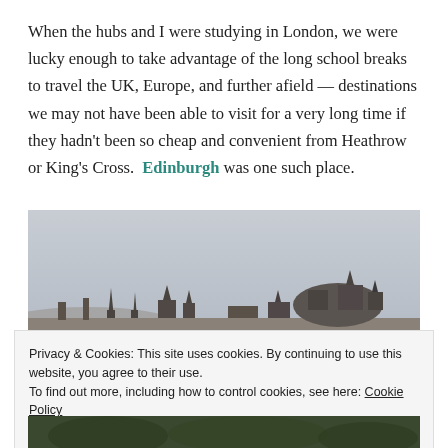When the hubs and I were studying in London, we were lucky enough to take advantage of the long school breaks to travel the UK, Europe, and further afield — destinations we may not have been able to visit for a very long time if they hadn't been so cheap and convenient from Heathrow or King's Cross. Edinburgh was one such place.
[Figure (photo): Panoramic skyline view of Edinburgh on an overcast day, showing the city's towers, spires, and Calton Hill silhouetted against a grey sky.]
Privacy & Cookies: This site uses cookies. By continuing to use this website, you agree to their use. To find out more, including how to control cookies, see here: Cookie Policy
Close and accept